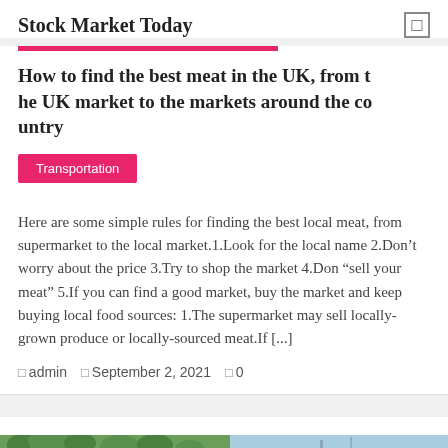Stock Market Today
How to find the best meat in the UK, from the UK market to the markets around the country
Transportation
Here are some simple rules for finding the best local meat, from supermarket to the local market.1.Look for the local name 2.Don’t worry about the price 3.Try to shop the market 4.Don “sell your meat” 5.If you can find a good market, buy the market and keep buying local food sources: 1.The supermarket may sell locally-grown produce or locally-sourced meat.If [...]
admin   September 2, 2021   0
[Figure (photo): Outdoor landscape photo showing vegetation and sky, partially visible at bottom of page]